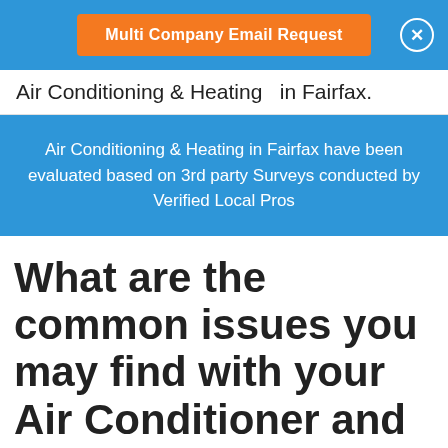[Figure (other): Orange button labeled 'Multi Company Email Request' on a blue banner, with a white circular close (X) button on the right]
Air Conditioning & Heating  in Fairfax.
Air Conditioning & Heating in Fairfax have been evaluated based on 3rd party Surveys conducted by Verified Local Pros
What are the common issues you may find with your Air Conditioner and Heating System? In Fairfax